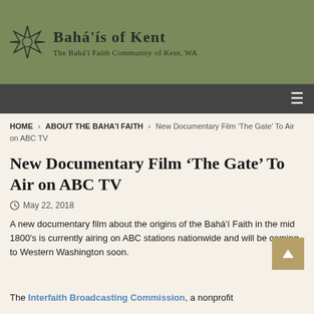Bahá'ís of Kent — The Bahá'í Faith Community of Kent, WA
Navigation menu
HOME › ABOUT THE BAHA'I FAITH › New Documentary Film 'The Gate' To Air on ABC TV
New Documentary Film 'The Gate' To Air on ABC TV
May 22, 2018
A new documentary film about the origins of the Bahá'í Faith in the mid 1800's is currently airing on ABC stations nationwide and will be coming to Western Washington soon.
The Interfaith Broadcasting Commission, a nonprofit